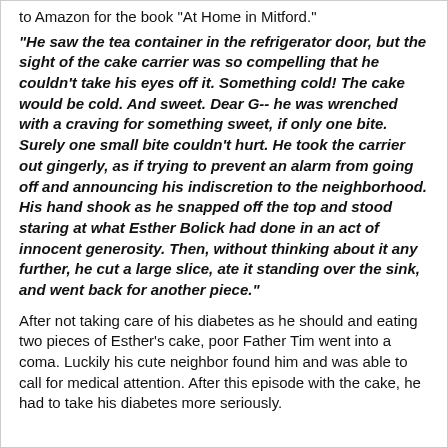Marmalade Cake! At the end of this post, you can link directly to Amazon for the book "At Home in Mitford."
"He saw the tea container in the refrigerator door, but the sight of the cake carrier was so compelling that he couldn't take his eyes off it. Something cold! The cake would be cold. And sweet. Dear G-- he was wrenched with a craving for something sweet, if only one bite. Surely one small bite couldn't hurt. He took the carrier out gingerly, as if trying to prevent an alarm from going off and announcing his indiscretion to the neighborhood. His hand shook as he snapped off the top and stood staring at what Esther Bolick had done in an act of innocent generosity. Then, without thinking about it any further, he cut a large slice, ate it standing over the sink, and went back for another piece."
After not taking care of his diabetes as he should and eating two pieces of Esther's cake, poor Father Tim went into a coma. Luckily his cute neighbor found him and was able to call for medical attention. After this episode with the cake, he had to take his diabetes more seriously.